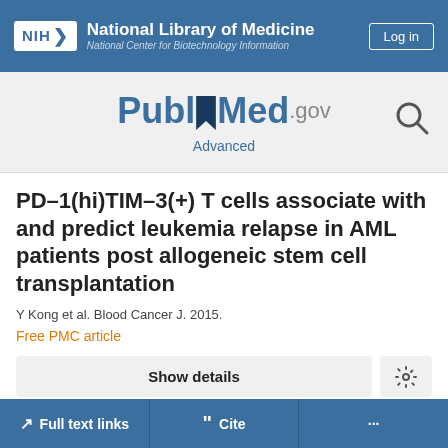[Figure (screenshot): NIH National Library of Medicine / National Center for Biotechnology Information header bar with Log in button]
[Figure (logo): PubMed.gov logo with search icon and Advanced link]
PD-1(hi)TIM-3(+) T cells associate with and predict leukemia relapse in AML patients post allogeneic stem cell transplantation
Y Kong et al. Blood Cancer J. 2015.
Free PMC article
Show details
Full text links
Cite